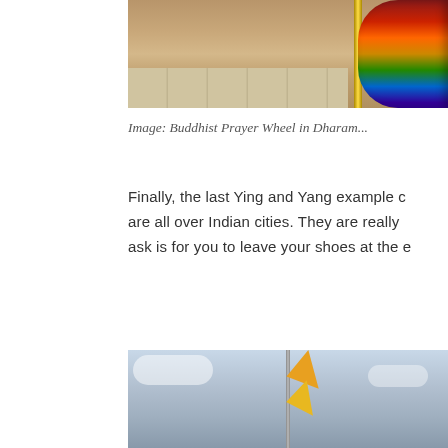[Figure (photo): Buddhist prayer wheel in Dharamsala, partially visible on right side, with wooden wall background and stone floor]
Image: Buddhist Prayer Wheel in Dharam...
Finally, the last Ying and Yang example ... are all over Indian cities. They are really... ask is for you to leave your shoes at the e...
[Figure (photo): Yellow/orange triangular flag on a pole against a cloudy sky, typical of Indian temple flags]